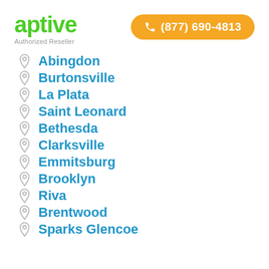[Figure (logo): Aptive logo in green with 'Authorized Reseller' subtitle]
(877) 690-4813
Abingdon
Burtonsville
La Plata
Saint Leonard
Bethesda
Clarksville
Emmitsburg
Brooklyn
Riva
Brentwood
Sparks Glencoe